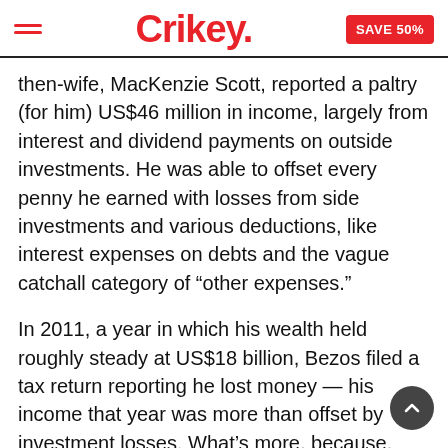Crikey. | SAVE 50%
then-wife, MacKenzie Scott, reported a paltry (for him) US$46 million in income, largely from interest and dividend payments on outside investments. He was able to offset every penny he earned with losses from side investments and various deductions, like interest expenses on debts and the vague catchall category of “other expenses.”
In 2011, a year in which his wealth held roughly steady at US$18 billion, Bezos filed a tax return reporting he lost money — his income that year was more than offset by investment losses. What’s more, because, according to the tax law, he made so little he even claimed and received a US$4000 tax credit